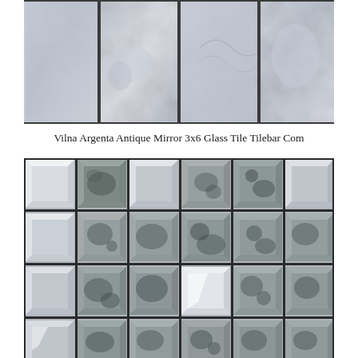[Figure (photo): Close-up photo of antique mirror rectangular glass tiles arranged in rows with dark grout lines, showing a cloudy marbled blue-grey appearance.]
Vilna Argenta Antique Mirror 3x6 Glass Tile Tilebar Com
[Figure (photo): Photo of square antique mirror glass mosaic tiles arranged in a grid pattern, showing beveled faceted surfaces with an aged, mottled grey-green mirror finish.]